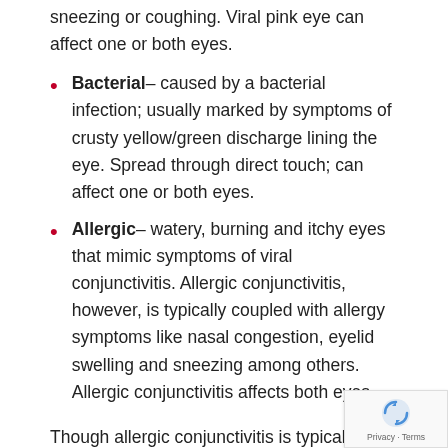sneezing or coughing. Viral pink eye can affect one or both eyes.
Bacterial– caused by a bacterial infection; usually marked by symptoms of crusty yellow/green discharge lining the eye. Spread through direct touch; can affect one or both eyes.
Allergic– watery, burning and itchy eyes that mimic symptoms of viral conjunctivitis. Allergic conjunctivitis, however, is typically coupled with allergy symptoms like nasal congestion, eyelid swelling and sneezing among others. Allergic conjunctivitis affects both eyes.
Though allergic conjunctivitis is typically brought on by allergy symptoms, it is a good idea to consult with a doctor for any variety of pink eye. They may be able to provide a minor eye drop or remedy or, in the case of